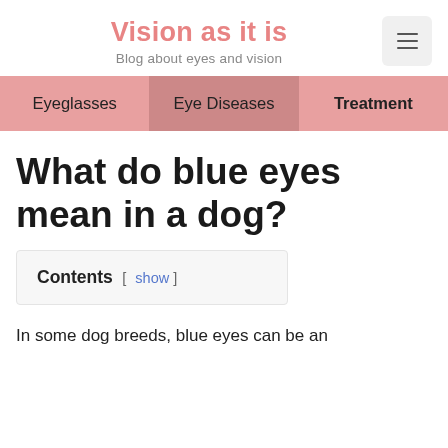Vision as it is
Blog about eyes and vision
What do blue eyes mean in a dog?
Contents [ show ]
In some dog breeds, blue eyes can be an